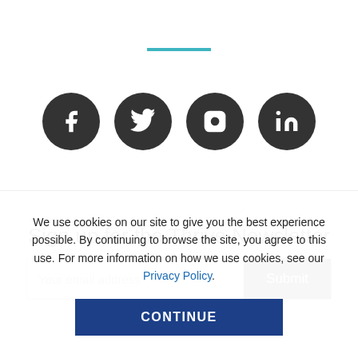[Figure (other): Teal horizontal decorative line divider]
[Figure (other): Four dark circular social media icons: Facebook, Twitter, Instagram, LinkedIn]
Sign up for the Thrive Newsletter
[Figure (other): Email input form with 'Your email address' placeholder and dark 'Submit' button]
We use cookies on our site to give you the best experience possible. By continuing to browse the site, you agree to this use. For more information on how we use cookies, see our Privacy Policy.
CONTINUE